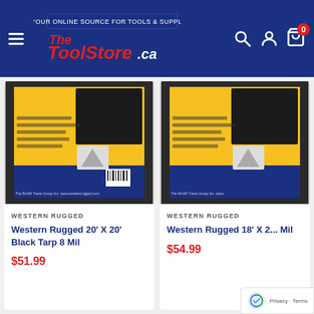[Figure (logo): The ToolStore.ca logo on dark blue navigation header with hamburger menu, search, account, and cart icons]
[Figure (photo): Western Rugged 20' X 20' Black Tarp 8 Mil product image showing tarp packaging with yellow, blue and black design]
WESTERN RUGGED
Western Rugged 20' X 20' Black Tarp 8 Mil
$51.99
[Figure (photo): Western Rugged 18' X ... Black Tarp 8 Mil product image showing tarp packaging with yellow, blue and black design (partially cropped)]
WESTERN RUGGED
Western Rugged 18' X ... Mil
$54.99